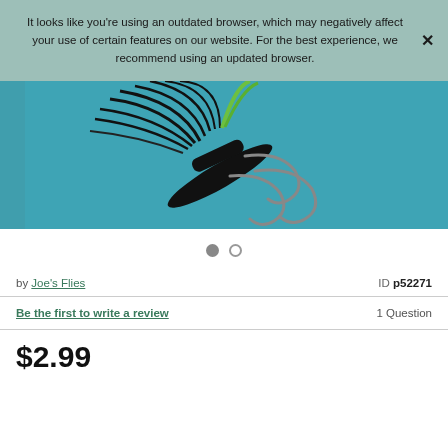It looks like you're using an outdated browser, which may negatively affect your use of certain features on our website. For the best experience, we recommend using an updated browser.
[Figure (photo): Close-up photo of a black fishing fly lure with green accents and multiple hooks against a teal/blue background]
• •  (carousel dots indicator)
by Joe's Flies  ID p52271
Be the first to write a review  1 Question
$2.99